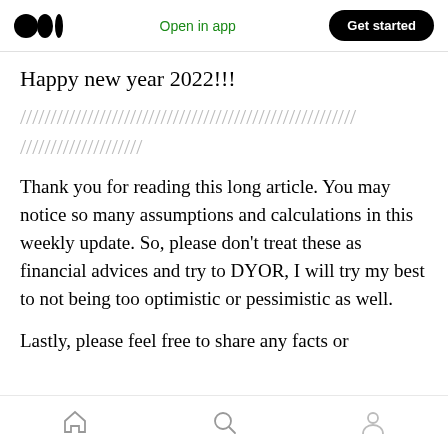Medium logo | Open in app | Get started
Happy new year 2022!!!
/////////////////////////////////////////////////////// ////////////////////
Thank you for reading this long article. You may notice so many assumptions and calculations in this weekly update. So, please don’t treat these as financial advices and try to DYOR, I will try my best to not being too optimistic or pessimistic as well.
Lastly, please feel free to share any facts or
Home | Search | Profile